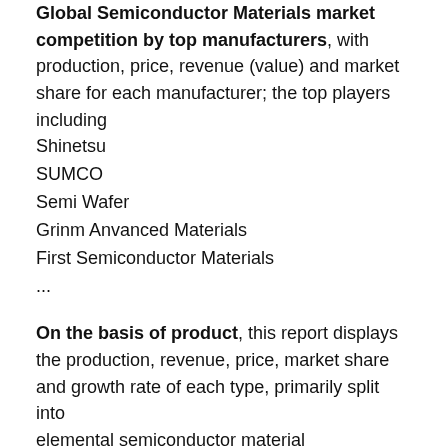Global Semiconductor Materials market competition by top manufacturers, with production, price, revenue (value) and market share for each manufacturer; the top players including
Shinetsu
SUMCO
Semi Wafer
Grinm Anvanced Materials
First Semiconductor Materials
...
On the basis of product, this report displays the production, revenue, price, market share and growth rate of each type, primarily split into
elemental semiconductor material
Compound semiconductor material
other
On the basis on the end users/applications, this report focuses on the status and outlook for major